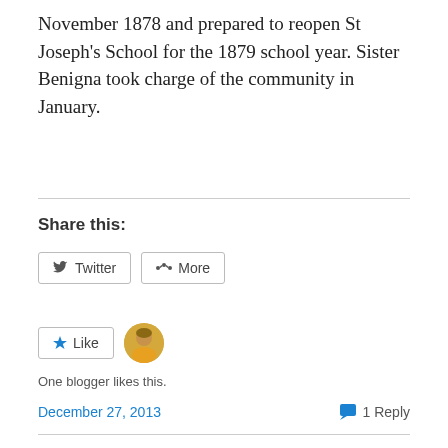November 1878 and prepared to reopen St Joseph's School for the 1879 school year. Sister Benigna took charge of the community in January.
Share this:
[Figure (screenshot): Social sharing buttons: Twitter and More]
[Figure (screenshot): Like button with one blogger avatar]
One blogger likes this.
December 27, 2013   1 Reply
[Figure (screenshot): Navigation buttons: Previous and Next]